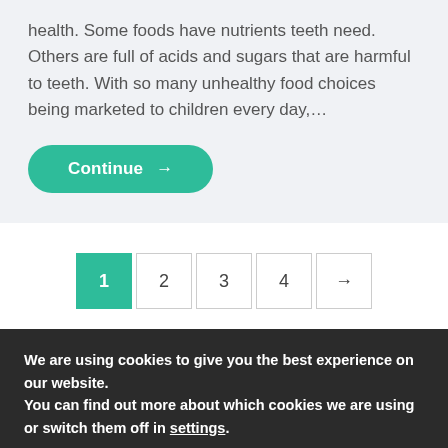health. Some foods have nutrients teeth need. Others are full of acids and sugars that are harmful to teeth. With so many unhealthy food choices being marketed to children every day,...
Continue →
1  2  3  4  →
We are using cookies to give you the best experience on our website.
You can find out more about which cookies we are using or switch them off in settings.
Accept